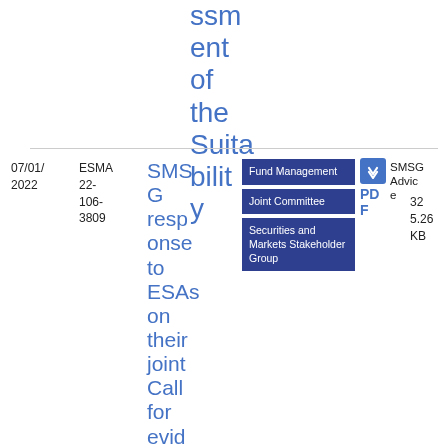ssment of the Suitability
| Date | Reference | Title | Tags | Type | Size |
| --- | --- | --- | --- | --- | --- |
| 07/01/2022 | ESMA 22-106-3809 | SMSG response to ESAs on their joint Call for evidence on the... | Fund Management | Joint Committee | Securities and Markets Stakeholder Group | SMSG Advice | PDF | 325.26 KB |